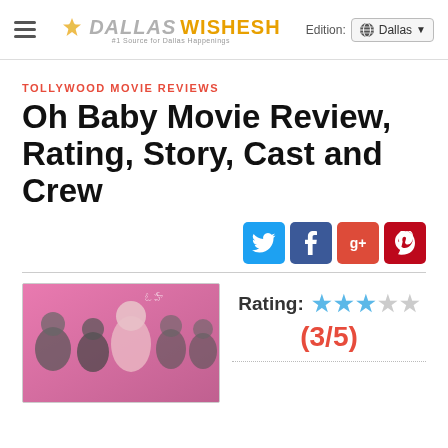DALLAS WISHESH — Edition: Dallas
TOLLYWOOD MOVIE REVIEWS
Oh Baby Movie Review, Rating, Story, Cast and Crew
[Figure (infographic): Social share buttons: Twitter (blue), Facebook (dark blue), Google+ (red-orange), Pinterest (dark red)]
[Figure (photo): Movie cast photo with several actors on pink background]
Rating: ★★★☆☆ (3/5)